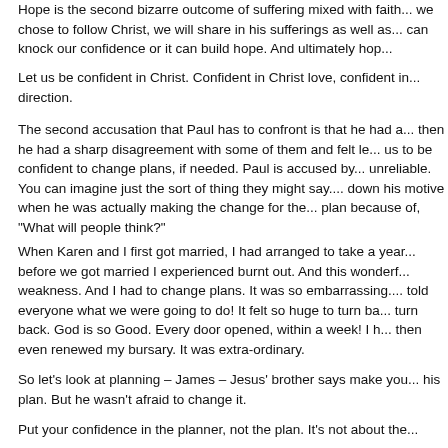Hope is the second bizarre outcome of suffering mixed with faith... we chose to follow Christ, we will share in his sufferings as well as... can knock our confidence or it can build hope. And ultimately hop...
Let us be confident in Christ. Confident in Christ love, confident in... direction.
The second accusation that Paul has to confront is that he had a... then he had a sharp disagreement with some of them and felt le... us to be confident to change plans, if needed. Paul is accused by... unreliable. You can imagine just the sort of thing they might say.... down his motive when he was actually making the change for the... plan because of, "What will people think?"
When Karen and I first got married, I had arranged to take a year... before we got married I experienced burnt out. And this wonderf... weakness. And I had to change plans. It was so embarrassing.... told everyone what we were going to do! It felt so huge to turn ba... turn back. God is so Good. Every door opened, within a week! I h... then even renewed my bursary. It was extra-ordinary.
So let's look at planning – James – Jesus' brother says make you... his plan. But he wasn't afraid to change it.
Put your confidence in the planner, not the plan. It's not about the...